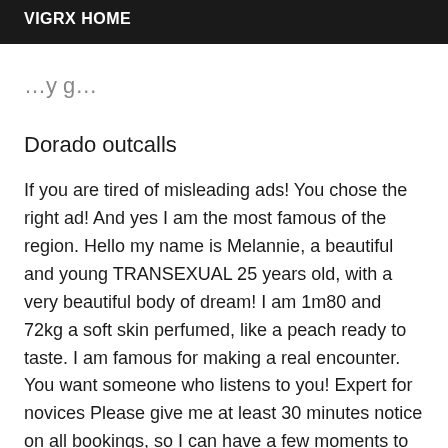VIGRX HOME
Dorado outcalls
If you are tired of misleading ads! You chose the right ad! And yes I am the most famous of the region. Hello my name is Melannie, a beautiful and young TRANSEXUAL 25 years old, with a very beautiful body of dream! I am 1m80 and 72kg a soft skin perfumed, like a peach ready to taste. I am famous for making a real encounter. You want someone who listens to you! Expert for novices Please give me at least 30 minutes notice on all bookings, so I can have a few moments to freshen up, fix my hair, and maybe apply a red lipstick tablecloth :-) WARNING -My PHOTOS 100% are GUARANTEED so no BAD surprises once you get there by immediately noticing that I am the person you want to meet. For my part, I ask you to have a good hygiene and to be punctual and especially discreet during your appointments. No physical or age criteria are required